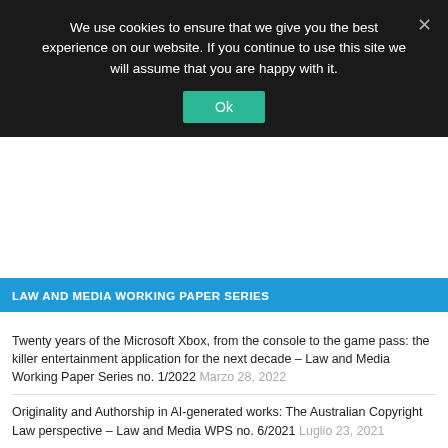We use cookies to ensure that we give you the best experience on our website. If you continue to use this site we will assume that you are happy with it.
LAW AND MEDIA WORKING PAPER SERIES
Twenty years of the Microsoft Xbox, from the console to the game pass: the killer entertainment application for the next decade – Law and Media Working Paper Series no. 1/2022 Marzo 28, 2022
Originality and Authorship in AI-generated works: The Australian Copyright Law perspective – Law and Media WPS no. 6/2021 Luglio 23, 2021
Privacy ed equità nella progettazione di sistemi di Intelligenza Artificiale – Law and Media WPS no.5/2021 Giugno 30, 2021
Jurisdictional issues in cybercrimes – Law and Media WPS no.4/2021 Maggio 20, 2021